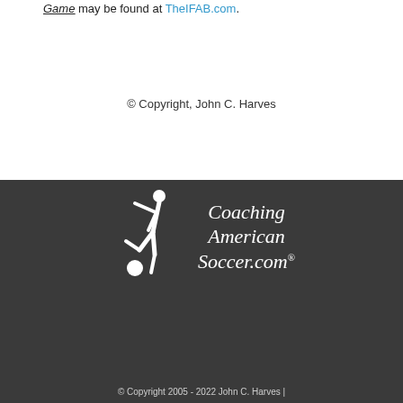Game may be found at TheIFAB.com.
© Copyright, John C. Harves
[Figure (logo): Coaching American Soccer.com logo with white soccer player silhouette kicking a ball and italic white text reading 'Coaching American Soccer.com®' on dark background]
© Copyright 2005 - 2022 John C. Harves |